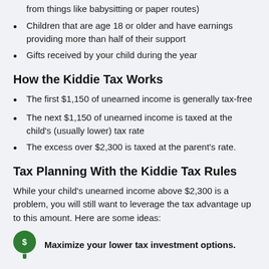from things like babysitting or paper routes)
Children that are age 18 or older and have earnings providing more than half of their support
Gifts received by your child during the year
How the Kiddie Tax Works
The first $1,150 of unearned income is generally tax-free
The next $1,150 of unearned income is taxed at the child's (usually lower) tax rate
The excess over $2,300 is taxed at the parent's rate.
Tax Planning With the Kiddie Tax Rules
While your child's unearned income above $2,300 is a problem, you will still want to leverage the tax advantage up to this amount. Here are some ideas:
Maximize your lower tax investment options.